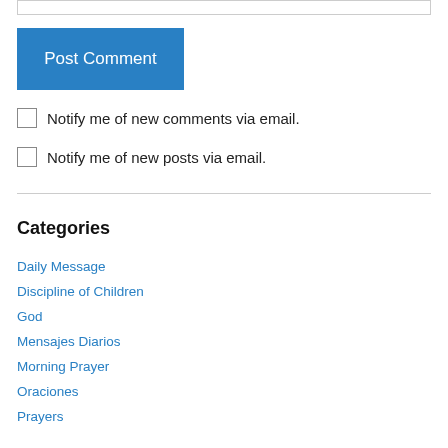[input box]
Post Comment
Notify me of new comments via email.
Notify me of new posts via email.
Categories
Daily Message
Discipline of Children
God
Mensajes Diarios
Morning Prayer
Oraciones
Prayers